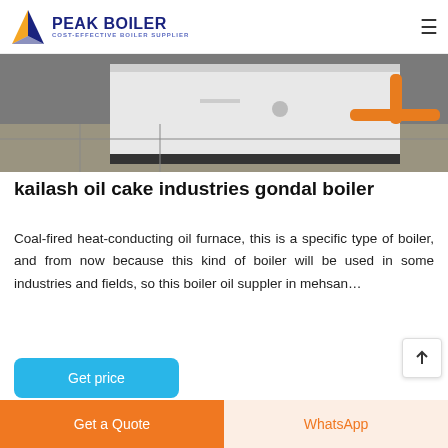PEAK BOILER — COST-EFFECTIVE BOILER SUPPLIER
[Figure (photo): Industrial boiler unit with orange gas pipes, installed in a facility floor setting]
kailash oil cake industries gondal boiler
Coal-fired heat-conducting oil furnace, this is a specific type of boiler, and from now because this kind of boiler will be used in some industries and fields, so this boiler oil suppler in mehsan…
[Figure (other): Get price button — blue rounded rectangle CTA]
[Figure (photo): Partial view of another industrial or boiler-related image at bottom of page]
Get a Quote  |  WhatsApp